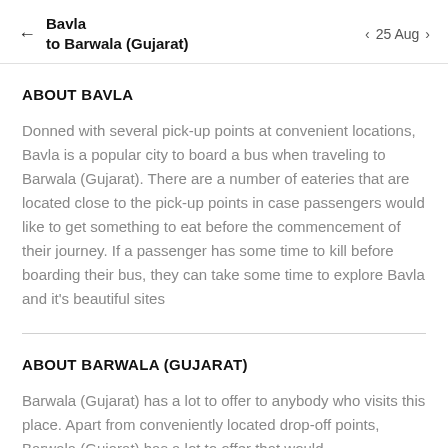Bavla to Barwala (Gujarat) — 25 Aug
ABOUT BAVLA
Donned with several pick-up points at convenient locations, Bavla is a popular city to board a bus when traveling to Barwala (Gujarat). There are a number of eateries that are located close to the pick-up points in case passengers would like to get something to eat before the commencement of their journey. If a passenger has some time to kill before boarding their bus, they can take some time to explore Bavla and it's beautiful sites
ABOUT BARWALA (GUJARAT)
Barwala (Gujarat) has a lot to offer to anybody who visits this place. Apart from conveniently located drop-off points, Barwala (Gujarat) has a lot to offer that would